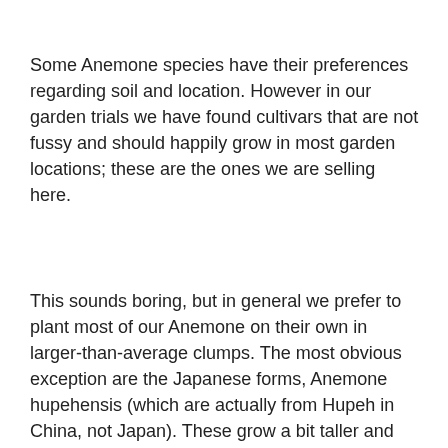Some Anemone species have their preferences regarding soil and location. However in our garden trials we have found cultivars that are not fussy and should happily grow in most garden locations; these are the ones we are selling here.
This sounds boring, but in general we prefer to plant most of our Anemone on their own in larger-than-average clumps. The most obvious exception are the Japanese forms, Anemone hupehensis (which are actually from Hupeh in China, not Japan). These grow a bit taller and can compliment daisy type flowers like Aster and Rudbeckia. Fuchsia, Hydrangea, and Geranium also work well